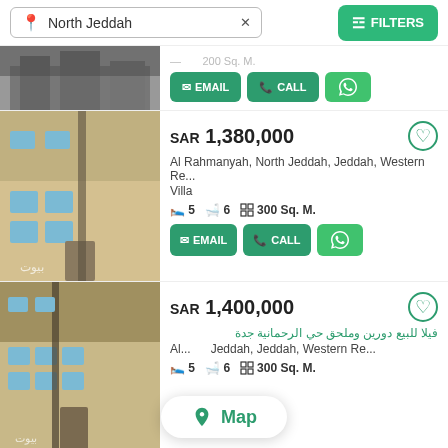North Jeddah × | FILTERS
[Figure (screenshot): Partial top listing photo showing building exterior]
EMAIL | CALL | WhatsApp
SAR 1,380,000
Al Rahmanyah, North Jeddah, Jeddah, Western Re...
Villa
5 beds  6 baths  300 Sq. M.
EMAIL | CALL | WhatsApp
SAR 1,400,000
فيلا للبيع دورين وملحق حي الرحمانية جدة
Al...  Jeddah, Jeddah, Western Re...
5 beds  6 baths  300 Sq. M.
Map